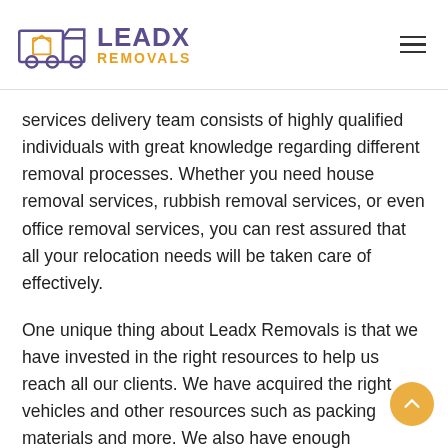[Figure (logo): Leadx Removals logo with truck/van icon in purple and orange, company name LEADX in purple bold text and REMOVALS in orange below]
services delivery team consists of highly qualified individuals with great knowledge regarding different removal processes. Whether you need house removal services, rubbish removal services, or even office removal services, you can rest assured that all your relocation needs will be taken care of effectively.
One unique thing about Leadx Removals is that we have invested in the right resources to help us reach all our clients. We have acquired the right vehicles and other resources such as packing materials and more. We also have enough employees who are trained regularly to ensure that they are well-versed with the requirements associated with removal projects and that they can offer